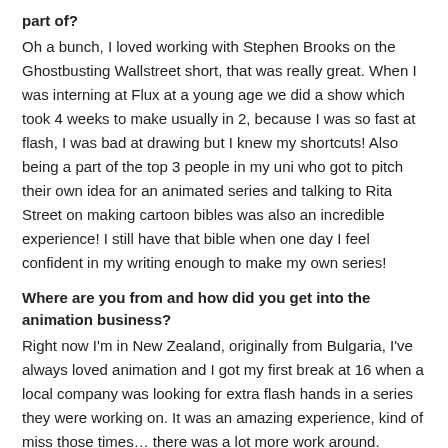part of?
Oh a bunch, I loved working with Stephen Brooks on the Ghostbusting Wallstreet short, that was really great. When I was interning at Flux at a young age we did a show which took 4 weeks to make usually in 2, because I was so fast at flash, I was bad at drawing but I knew my shortcuts! Also being a part of the top 3 people in my uni who got to pitch their own idea for an animated series and talking to Rita Street on making cartoon bibles was also an incredible experience! I still have that bible when one day I feel confident in my writing enough to make my own series!
Where are you from and how did you get into the animation business?
Right now I'm in New Zealand, originally from Bulgaria, I've always loved animation and I got my first break at 16 when a local company was looking for extra flash hands in a series they were working on. It was an amazing experience, kind of miss those times… there was a lot more work around.
What's a typical day like for you with regards to your job?